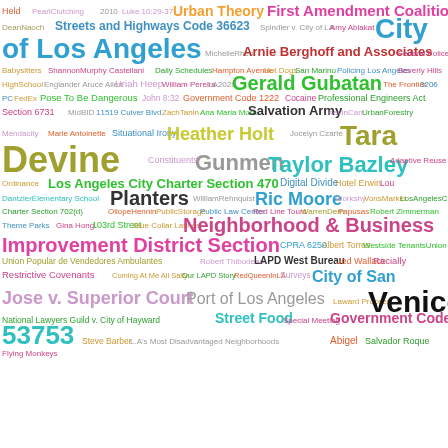[Figure (infographic): Word cloud containing legal, government, and Los Angeles related terms in various colors and font sizes. Key terms include: City of Los Angeles, First Amendment Coalition, Streets and Highways Code 36623, Gerald Gubatan, Tara Devine, Gunmen, Taylor Bazley, Los Angeles City Charter Section 470, Planters, Ric Moore, Neighborhood & Business Improvement District Section, Venice, Government Code 53753, Port of Los Angeles, Jose v. Superior Court, among many others.]